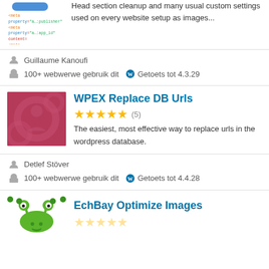[Figure (screenshot): Code block showing HTML meta tags with syntax highlighting]
Head section cleanup and many usual custom settings used on every website setup as images...
Guillaume Kanoufi
100+ webwerwe gebruik dit   Getoets tot 4.3.29
[Figure (photo): Pinkish-red plugin thumbnail with circular pattern watermark for WPEX Replace DB Urls]
WPEX Replace DB Urls
★★★★½ (5)
The easiest, most effective way to replace urls in the wordpress database.
Detlef Stöver
100+ webwerwe gebruik dit   Getoets tot 4.4.28
[Figure (illustration): Green cartoon frog/bug character for EchBay Optimize Images plugin]
EchBay Optimize Images